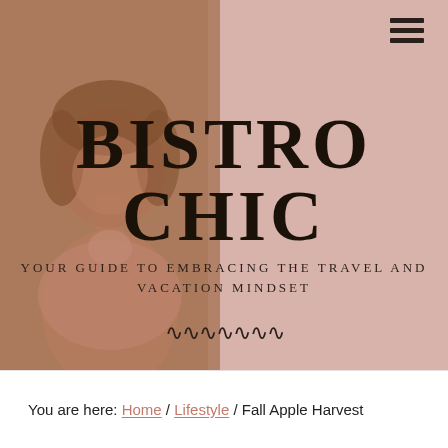[Figure (photo): Website header banner. Left half shows a woman with brown hair wearing a pink top, smiling, with a warm brownish overlay. Right half is a dusty rose/blush pink panel. A hamburger menu icon appears top right. Large serif bold text reads BISTRO CHIC centered across the image. Below the title in spaced uppercase lettering: YOUR GUIDE TO EMBRACING THE TRAVEL AND VACATION MINDSET. Decorative squiggle ornament below tagline.]
You are here: Home / Lifestyle / Fall Apple Harvest